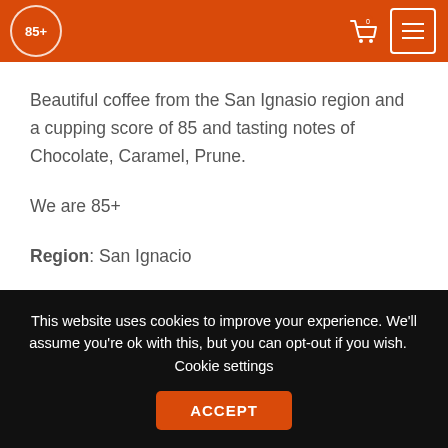85+ (logo)
Beautiful coffee from the San Ignasio region and a cupping score of 85 and tasting notes of Chocolate, Caramel, Prune.
We are 85+
Region: San Ignacio
Cooperative: Aprocassi
This website uses cookies to improve your experience. We'll assume you're ok with this, but you can opt-out if you wish. Cookie settings ACCEPT